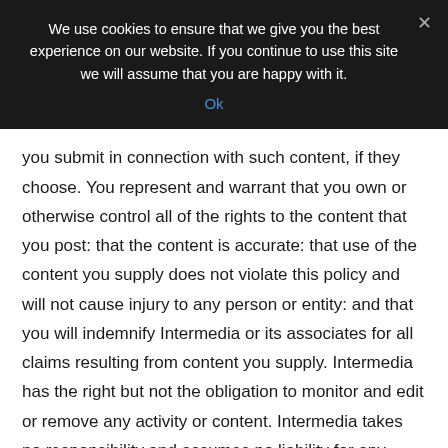We use cookies to ensure that we give you the best experience on our website. If you continue to use this site we will assume that you are happy with it.
Ok
you submit in connection with such content, if they choose. You represent and warrant that you own or otherwise control all of the rights to the content that you post: that the content is accurate: that use of the content you supply does not violate this policy and will not cause injury to any person or entity: and that you will indemnify Intermedia or its associates for all claims resulting from content you supply. Intermedia has the right but not the obligation to monitor and edit or remove any activity or content. Intermedia takes no responsibility and assumes no liability for any content posted by you or any third party.